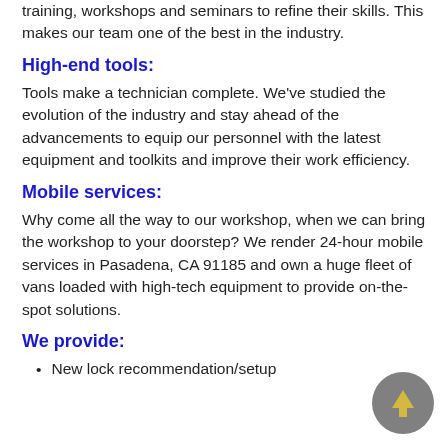training, workshops and seminars to refine their skills. This makes our team one of the best in the industry.
High-end tools:
Tools make a technician complete. We’ve studied the evolution of the industry and stay ahead of the advancements to equip our personnel with the latest equipment and toolkits and improve their work efficiency.
Mobile services:
Why come all the way to our workshop, when we can bring the workshop to your doorstep? We render 24-hour mobile services in Pasadena, CA 91185 and own a huge fleet of vans loaded with high-tech equipment to provide on-the-spot solutions.
We provide:
New lock recommendation/setup
[Figure (other): Back to top button: circular grey button with an upward-pointing arrow icon]